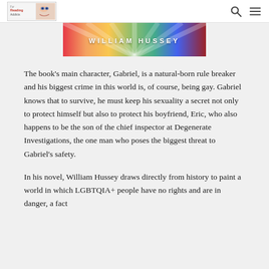For Reading Addicts [logo] [search icon] [menu icon]
[Figure (illustration): Colorful book cover banner with rainbow rays and text 'WILLIAM HUSSEY' on a vibrant multicolored background]
The book’s main character, Gabriel, is a natural-born rule breaker and his biggest crime in this world is, of course, being gay. Gabriel knows that to survive, he must keep his sexuality a secret not only to protect himself but also to protect his boyfriend, Eric, who also happens to be the son of the chief inspector at Degenerate Investigations, the one man who poses the biggest threat to Gabriel’s safety.
In his novel, William Hussey draws directly from history to paint a world in which LGBTQIA+ people have no rights and are in danger, a fact